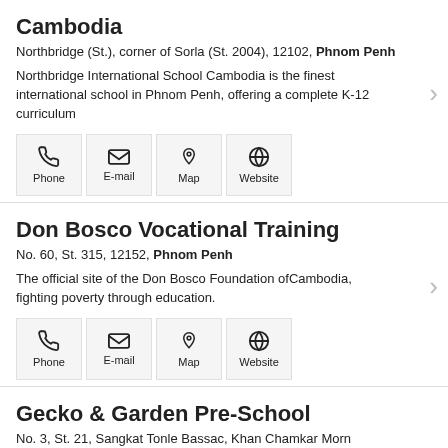Cambodia
Northbridge (St.), corner of Sorla (St. 2004), 12102, Phnom Penh
Northbridge International School Cambodia is the finest international school in Phnom Penh, offering a complete K-12 curriculum
Don Bosco Vocational Training
No. 60, St. 315, 12152, Phnom Penh
The official site of the Don Bosco Foundation ofCambodia, fighting poverty through education.
Gecko & Garden Pre-School
No. 3, St. 21, Sangkat Tonle Bassac, Khan Chamkar Morn